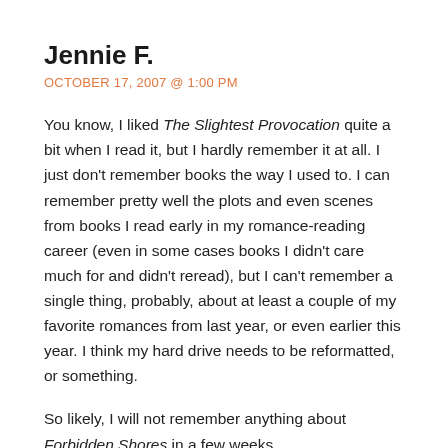Jennie F.
OCTOBER 17, 2007 @ 1:00 PM
You know, I liked The Slightest Provocation quite a bit when I read it, but I hardly remember it at all. I just don't remember books the way I used to. I can remember pretty well the plots and even scenes from books I read early in my romance-reading career (even in some cases books I didn't care much for and didn't reread), but I can't remember a single thing, probably, about at least a couple of my favorite romances from last year, or even earlier this year. I think my hard drive needs to be reformatted, or something.
So likely, I will not remember anything about Forbidden Shores in a few weeks.
Regarding the Allen/Sheridan comparison,